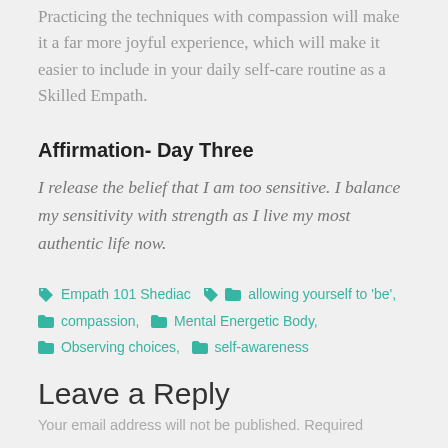Practicing the techniques with compassion will make it a far more joyful experience, which will make it easier to include in your daily self-care routine as a Skilled Empath.
Affirmation- Day Three
I release the belief that I am too sensitive.  I balance my sensitivity with strength as I live my most authentic life now.
Empath 101 Shediac  allowing yourself to 'be',  compassion,  Mental Energetic Body,  Observing choices,  self-awareness
Leave a Reply
Your email address will not be published. Required